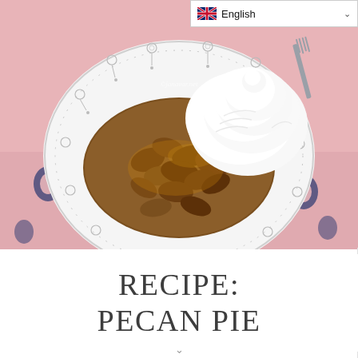[Figure (photo): A plate of pecan pie slice topped with whipped cream, served on a decorative plate with a patterned pink and navy fabric underneath. The plate has a circular pattern design. A fork is visible in the background. A watermark reads 'janavar.net'.]
RECIPE:
PECAN PIE